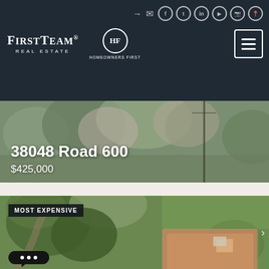FirstTeam Real Estate — Homeowners First — Navigation Bar
38048 Road 600
$425,000
[Figure (photo): Aerial photo of residential property with trees, showing rooftop with 'MOST EXPENSIVE' badge overlay and a chat bubble widget at the bottom left]
MOST EXPENSIVE